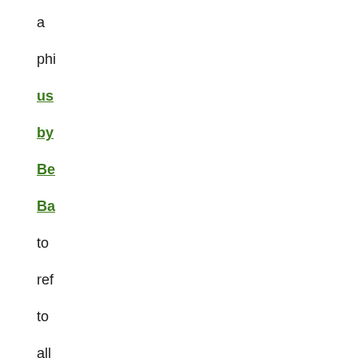a phi us by Be Ba to ref to all no ge pa So I ge ma no pro on wh a pe